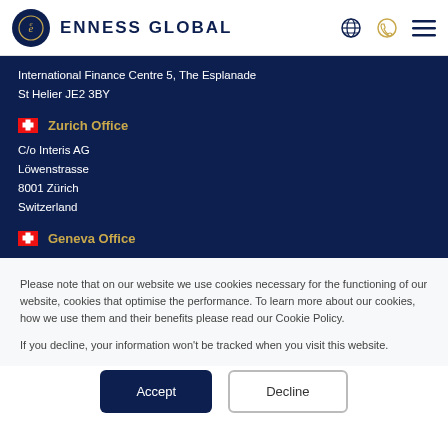ENNESS GLOBAL
International Finance Centre 5, The Esplanade
St Helier JE2 3BY
Zurich Office
C/o Interis AG
Löwenstrasse
8001 Zürich
Switzerland
Geneva Office
Please note that on our website we use cookies necessary for the functioning of our website, cookies that optimise the performance. To learn more about our cookies, how we use them and their benefits please read our Cookie Policy.

If you decline, your information won't be tracked when you visit this website.